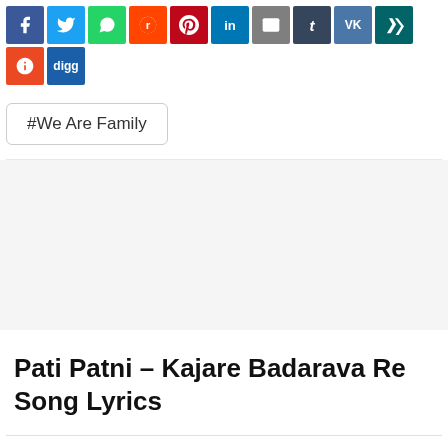[Figure (infographic): Social media share buttons: Facebook, Twitter, WhatsApp, Reddit, Pinterest, LinkedIn, Email, Tumblr, VK, Xing, StumbleUpon, Digg]
#We Are Family
Pati Patni – Kajare Badarava Re Song Lyrics